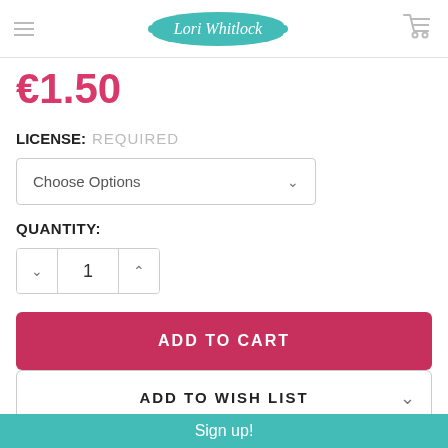Lori Whitlock
€1.50
LICENSE: REQUIRED
Choose Options
QUANTITY:
1
ADD TO CART
ADD TO WISH LIST
Sign up!